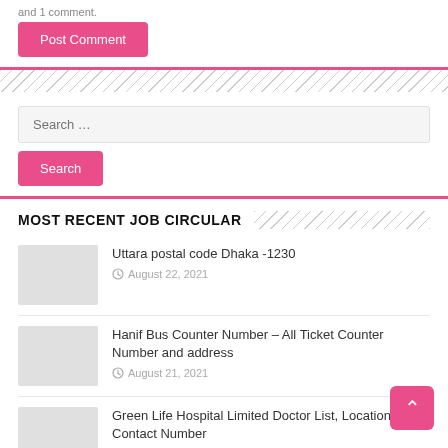and 1 comment.
Post Comment
Search …
Search
MOST RECENT JOB CIRCULAR
Uttara postal code Dhaka -1230
August 22, 2021
Hanif Bus Counter Number – All Ticket Counter Number and address
August 21, 2021
Green Life Hospital Limited Doctor List, Location & Contact Number